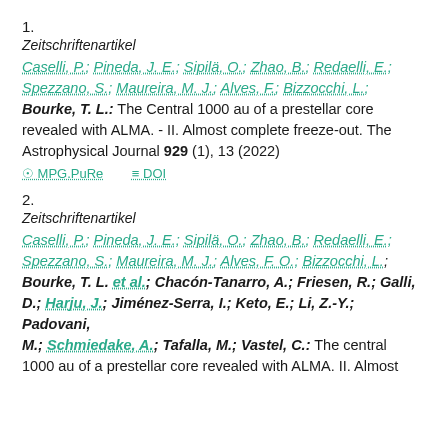1.
Zeitschriftenartikel
Caselli, P.; Pineda, J. E.; Sipilä, O.; Zhao, B.; Redaelli, E.; Spezzano, S.; Maureira, M. J.; Alves, F.; Bizzocchi, L.; Bourke, T. L.: The Central 1000 au of a prestellar core revealed with ALMA. - II. Almost complete freeze-out. The Astrophysical Journal 929 (1), 13 (2022)
MPG.PuRe   DOI
2.
Zeitschriftenartikel
Caselli, P.; Pineda, J. E.; Sipilä, O.; Zhao, B.; Redaelli, E.; Spezzano, S.; Maureira, M. J.; Alves, F. O.; Bizzocchi, L.; Bourke, T. L. et al.; Chacón-Tanarro, A.; Friesen, R.; Galli, D.; Harju, J.; Jiménez-Serra, I.; Keto, E.; Li, Z.-Y.; Padovani, M.; Schmiedake, A.; Tafalla, M.; Vastel, C.: The central 1000 au of a prestellar core revealed with ALMA. II. Almost